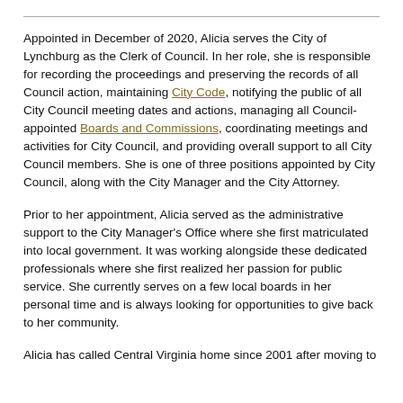Appointed in December of 2020, Alicia serves the City of Lynchburg as the Clerk of Council. In her role, she is responsible for recording the proceedings and preserving the records of all Council action, maintaining City Code, notifying the public of all City Council meeting dates and actions, managing all Council-appointed Boards and Commissions, coordinating meetings and activities for City Council, and providing overall support to all City Council members. She is one of three positions appointed by City Council, along with the City Manager and the City Attorney.
Prior to her appointment, Alicia served as the administrative support to the City Manager's Office where she first matriculated into local government. It was working alongside these dedicated professionals where she first realized her passion for public service. She currently serves on a few local boards in her personal time and is always looking for opportunities to give back to her community.
Alicia has called Central Virginia home since 2001 after moving to